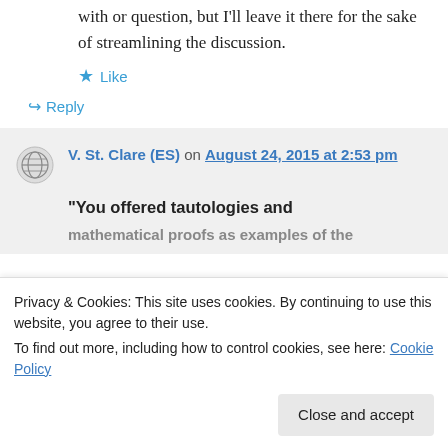with or question, but I'll leave it there for the sake of streamlining the discussion.
★ Like
↪ Reply
V. St. Clare (ES) on August 24, 2015 at 2:53 pm
“You offered tautologies and mathematical proofs as examples of the
Privacy & Cookies: This site uses cookies. By continuing to use this website, you agree to their use.
To find out more, including how to control cookies, see here: Cookie Policy
Close and accept